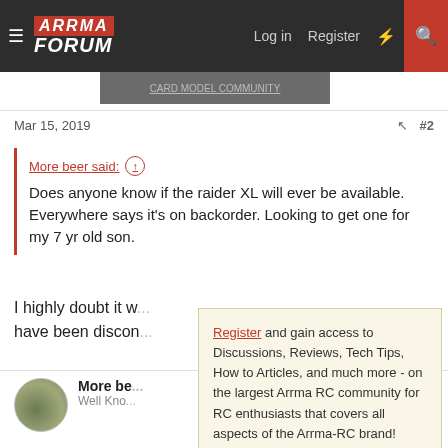[Figure (screenshot): Arrma Forum navigation bar with hamburger menu, logo, Log in, Register, lightning bolt, and search icons]
Mar 15, 2019
#2
More beer said: ↑
Does anyone know if the raider XL will ever be available. Everywhere says it's on backorder. Looking to get one for my 7 yr old son.
I highly doubt it w... have been discon...
More be... Well Kno...
Register and gain access to Discussions, Reviews, Tech Tips, How to Articles, and much more - on the largest Arrma RC community for RC enthusiasts that covers all aspects of the Arrma-RC brand!

Register Today It's free! This box will disappear once registered!